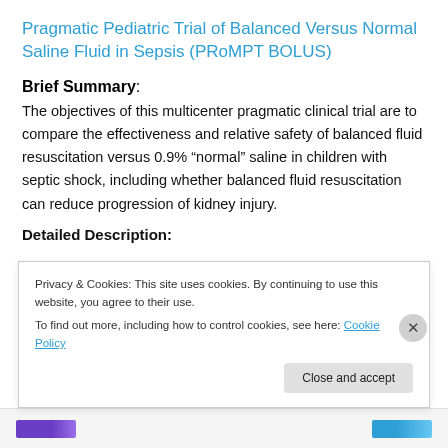Pragmatic Pediatric Trial of Balanced Versus Normal Saline Fluid in Sepsis (PRoMPT BOLUS)
Brief Summary:
The objectives of this multicenter pragmatic clinical trial are to compare the effectiveness and relative safety of balanced fluid resuscitation versus 0.9% “normal” saline in children with septic shock, including whether balanced fluid resuscitation can reduce progression of kidney injury.
Detailed Description:
Privacy & Cookies: This site uses cookies. By continuing to use this website, you agree to their use.
To find out more, including how to control cookies, see here: Cookie Policy